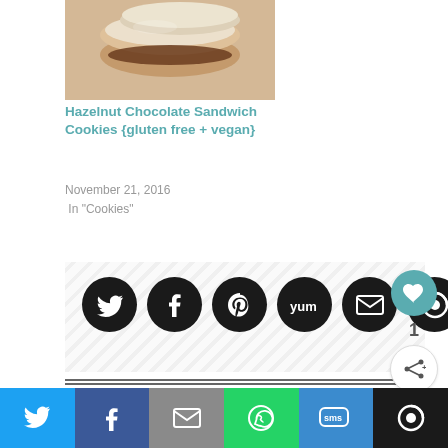[Figure (photo): Photo of hazelnut chocolate sandwich cookies stacked on top of each other, dusted with powdered sugar]
Hazelnut Chocolate Sandwich Cookies {gluten free + vegan}
November 21, 2016
In "Cookies"
[Figure (infographic): Social share buttons row: Twitter, Facebook, Pinterest, Yummly, Email, and a circular share button, on a diagonal-striped background]
[Figure (infographic): Like button (teal heart circle) with count 1, and share button below]
[Figure (infographic): What's Next panel with small cupcake photo and text: Chocolate Peanut Butt...]
[Figure (infographic): Bottom share bar with Twitter, Facebook, Email, WhatsApp, SMS, and More buttons]